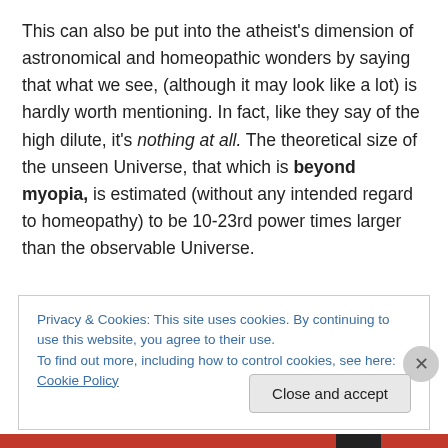This can also be put into the atheist's dimension of astronomical and homeopathic wonders by saying that what we see, (although it may look like a lot) is hardly worth mentioning. In fact, like they say of the high dilute, it's nothing at all. The theoretical size of the unseen Universe, that which is beyond myopia, is estimated (without any intended regard to homeopathy) to be 10-23rd power times larger than the observable Universe.

By material standards, in our observable Universe, we are real enough, but in our theoretical one we are nothing at
Privacy & Cookies: This site uses cookies. By continuing to use this website, you agree to their use.
To find out more, including how to control cookies, see here: Cookie Policy